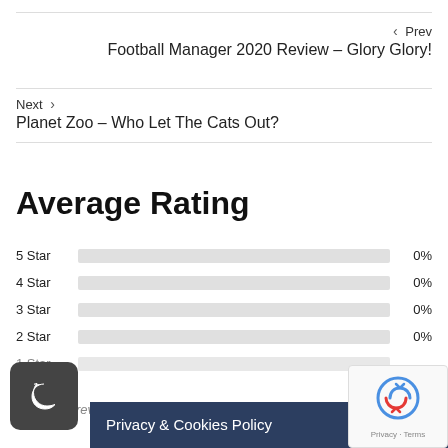‹ Prev
Football Manager 2020 Review – Glory Glory!
Next ›
Planet Zoo – Who Let The Cats Out?
Average Rating
5 Star 0%
4 Star 0%
3 Star 0%
2 Star 0%
1 Star
Privacy & Cookies Policy